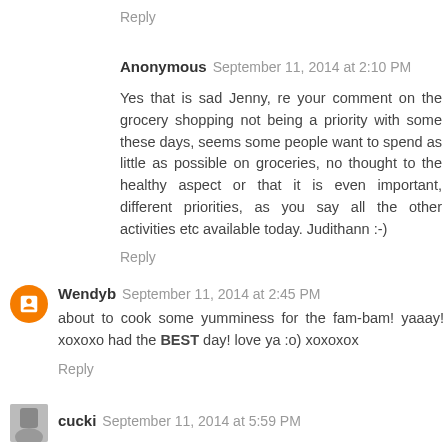Reply
Anonymous  September 11, 2014 at 2:10 PM
Yes that is sad Jenny, re your comment on the grocery shopping not being a priority with some these days, seems some people want to spend as little as possible on groceries, no thought to the healthy aspect or that it is even important, different priorities, as you say all the other activities etc available today. Judithann :-)
Reply
Wendyb  September 11, 2014 at 2:45 PM
about to cook some yumminess for the fam-bam! yaaay! xoxoxo had the BEST day! love ya :o) xoxoxox
Reply
cucki  September 11, 2014 at 5:59 PM